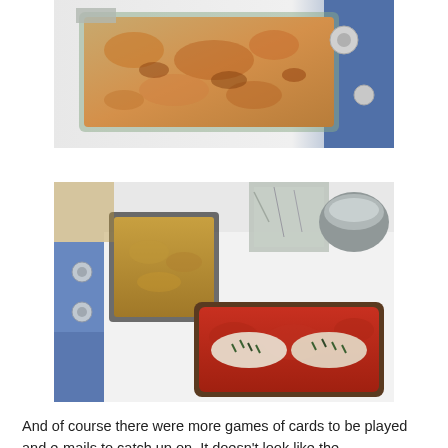[Figure (photo): A glass baking dish filled with a golden-brown cheesy casserole sitting on a white stove top next to a blue side panel.]
[Figure (photo): A white stove top with two dishes: a small square casserole dish with a brown breadcrumb topping on the left, and a larger rectangular glass baking dish with fish fillets in tomato sauce garnished with herbs on the right. Aluminum foil-wrapped items and a metal pot are visible in the background.]
And of course there were more games of cards to be played and e-mails to catch up on. It doesn't look like the